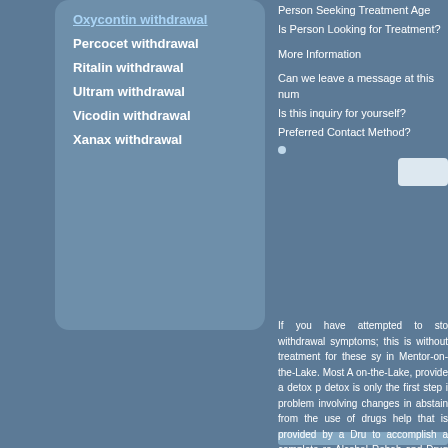Oxycontin withdrawal
Percocet withdrawal
Ritalin withdrawal
Ultram withdrawal
Vicodin withdrawal
Xanax withdrawal
Person Seeking Treatment Age
Is Person Looking for Treatment?
More Information
Can we leave a message at this number
Is this inquiry for yourself?
Preferred Contact Method?
If you have attempted to stop withdrawal symptoms; this is without treatment for these symptoms in Mentor-on-the-Lake. Most Alcohol on-the-Lake, provide a detox program. detox is only the first step in a problem involving changes in the to abstain from the use of drugs and alcohol help that is provided by a Drug Rehab to accomplish a complete recovery. Alcohol Rehab and Drug Treatment professional assistance. A Drug detailed information about Drug Rehab Lake. If you need assistance call our toll-free number and our